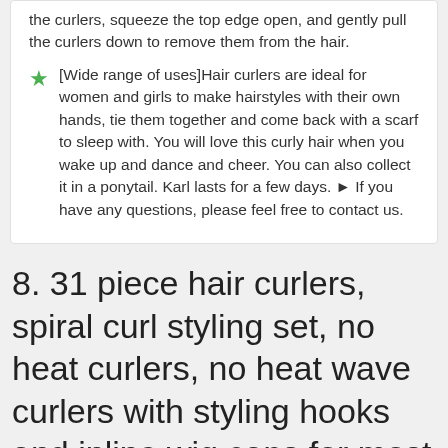the curlers, squeeze the top edge open, and gently pull the curlers down to remove them from the hair.
[Wide range of uses]Hair curlers are ideal for women and girls to make hairstyles with their own hands, tie them together and come back with a scarf to sleep with. You will love this curly hair when you wake up and dance and cheer. You can also collect it in a ponytail. Karl lasts for a few days. ► If you have any questions, please feel free to contact us.
8. 31 piece hair curlers, spiral curl styling set, no heat curlers, no heat wave curlers with styling hooks and inline wig caps for most hairstyles